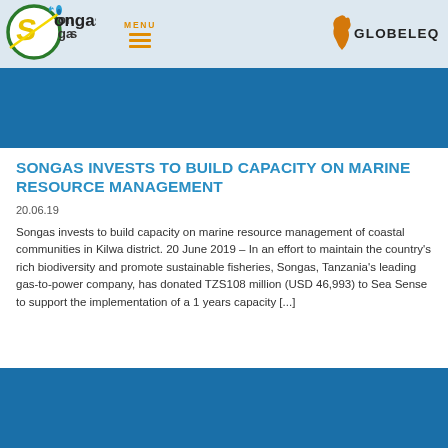[Figure (logo): Songas company logo: green circle with lightning bolt S and gas flame, text 'songas']
[Figure (logo): Globeleq logo: Africa continent outline in orange with text GLOBELEQ]
[Figure (illustration): Blue banner image strip]
SONGAS INVESTS TO BUILD CAPACITY ON MARINE RESOURCE MANAGEMENT
20.06.19
Songas invests to build capacity on marine resource management of coastal communities in Kilwa district. 20 June 2019 – In an effort to maintain the country's rich biodiversity and promote sustainable fisheries, Songas, Tanzania's leading gas-to-power company, has donated TZS108 million (USD 46,993) to Sea Sense to support the implementation of a 1 years capacity [...]
[Figure (illustration): Blue banner image strip at bottom]